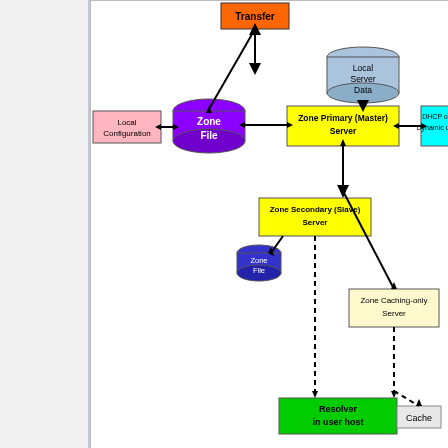[Figure (network-graph): DNS architecture diagram showing Zone File, Zone Primary (Master) Server, Zone Secondary (Slave) Server, Local Server Data, Local Configuration, DHCP Dynamic updates, Zone Caching-only Server, Resolver in user host, Cache, and Transfer components with arrows showing relationships.]
Resolvers, their caches, and their information sources
The program, on a host, which is the client of DNS servers is most often called a resolver. Depending on the local network architectural implementation, a resolver may go to a caching-only server, a secondary server, or the primary server for its information. It may retain a cache of recently retrieved DNS information, clearing